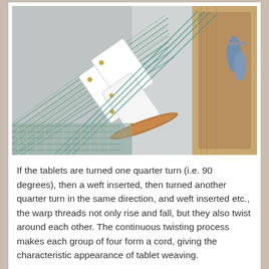[Figure (photo): A tablet weaving setup showing white rectangular tablets threaded with teal/green warp threads on a wooden loom, with a wooden shuttle visible. The tablets are arranged diagonally showing the threading pattern.]
If the tablets are turned one quarter turn (i.e. 90 degrees), then a weft inserted, then turned another quarter turn in the same direction, and weft inserted etc., the warp threads not only rise and fall, but they also twist around each other. The continuous twisting process makes each group of four form a cord, giving the characteristic appearance of tablet weaving. Because it is necessary the use of four threads of